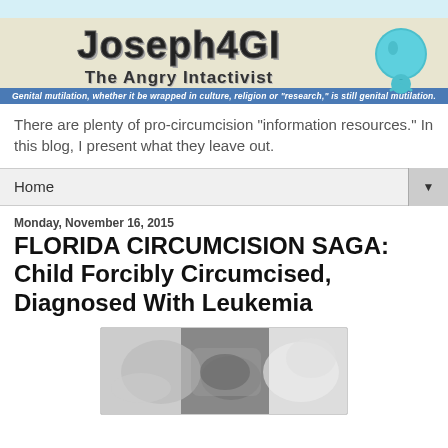[Figure (logo): Joseph4GI The Angry Intactivist blog banner with teal figure mascot and tagline about genital mutilation]
There are plenty of pro-circumcision "information resources." In this blog, I present what they leave out.
Home
Monday, November 16, 2015
FLORIDA CIRCUMCISION SAGA: Child Forcibly Circumcised, Diagnosed With Leukemia
[Figure (photo): Black and white photograph of what appears to be a medical procedure on an infant]